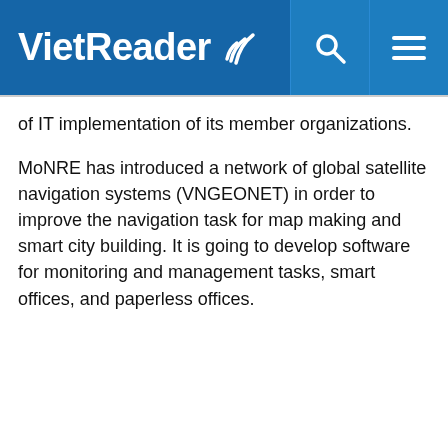VietReader
of IT implementation of its member organizations.
MoNRE has introduced a network of global satellite navigation systems (VNGEONET) in order to improve the navigation task for map making and smart city building. It is going to develop software for monitoring and management tasks, smart offices, and paperless offices.